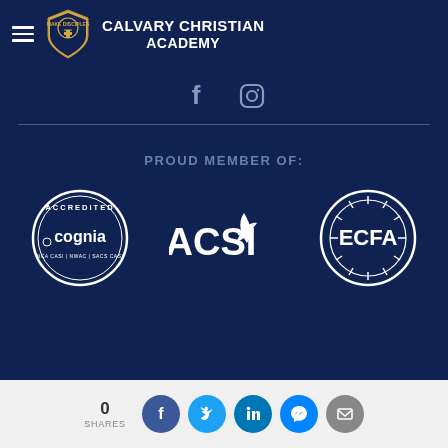[Figure (logo): Calvary Christian Academy logo with shield and school name header]
[Figure (illustration): Social media icons: Facebook and Instagram]
PROUD MEMBER OF:
[Figure (logo): Three membership logos: Cognia (Accredited), ACSI, and ECFA]
0 SHARES
[Figure (illustration): Social share buttons: Facebook, Twitter, LinkedIn, Messenger, Email]